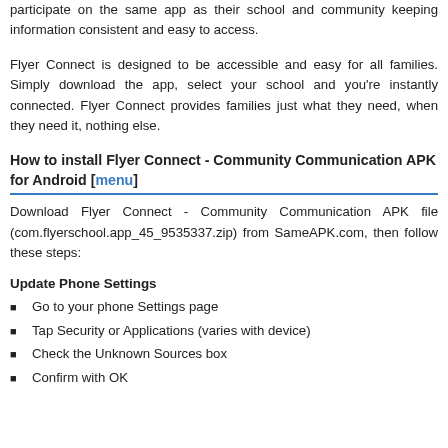participate on the same app as their school and community keeping information consistent and easy to access.
Flyer Connect is designed to be accessible and easy for all families. Simply download the app, select your school and you're instantly connected. Flyer Connect provides families just what they need, when they need it, nothing else.
How to install Flyer Connect - Community Communication APK for Android [menu]
Download Flyer Connect - Community Communication APK file (com.flyerschool.app_45_9535337.zip) from SameAPK.com, then follow these steps:
Update Phone Settings
Go to your phone Settings page
Tap Security or Applications (varies with device)
Check the Unknown Sources box
Confirm with OK